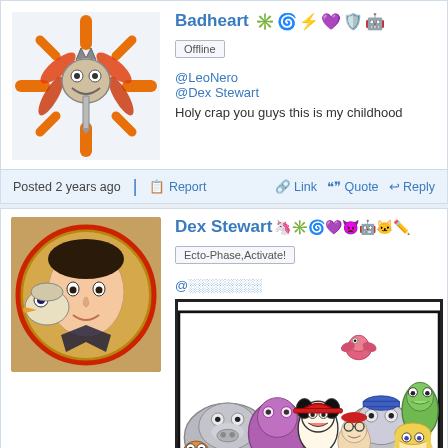[Figure (illustration): Badheart user avatar - fantasy/explosion creature artwork]
Badheart [emoji icons]
Offline
@LeoNero
@Dex Stewart
Holy crap you guys this is my childhood
Posted 2 years ago | Report | Link | Quote | Reply
[Figure (photo): Dex Stewart user avatar - photo of person with puppet/duck character]
Dex Stewart [emoji icons]
Ecto-Phase,Activate!
@░░░░░░░░
[Figure (illustration): Group illustration of various cartoon characters including Animaniacs and other 90s cartoon characters]